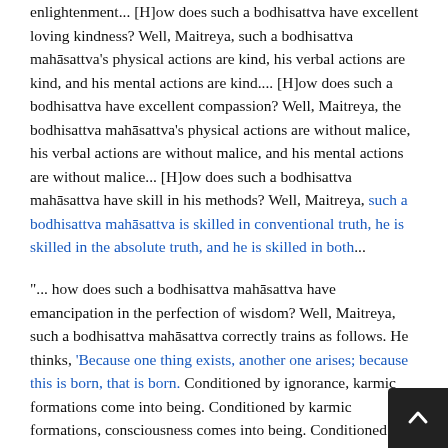enlightenment... [H]ow does such a bodhisattva have excellent loving kindness? Well, Maitreya, such a bodhisattva mahāsattva's physical actions are kind, his verbal actions are kind, and his mental actions are kind.... [H]ow does such a bodhisattva have excellent compassion? Well, Maitreya, the bodhisattva mahāsattva's physical actions are without malice, his verbal actions are without malice, and his mental actions are without malice... [H]ow does such a bodhisattva mahāsattva have skill in his methods? Well, Maitreya, such a bodhisattva mahāsattva is skilled in conventional truth, he is skilled in the absolute truth, and he is skilled in both...
"... how does such a bodhisattva mahāsattva have emancipation in the perfection of wisdom? Well, Maitreya, such a bodhisattva mahāsattva correctly trains as follows. He thinks, 'Because one thing exists, another one arises; because this is born, that is born. Conditioned by ignorance, karmic formations come into being. Conditioned by karmic formations, consciousness comes into being. Conditioned by consciousness, name and form come in...